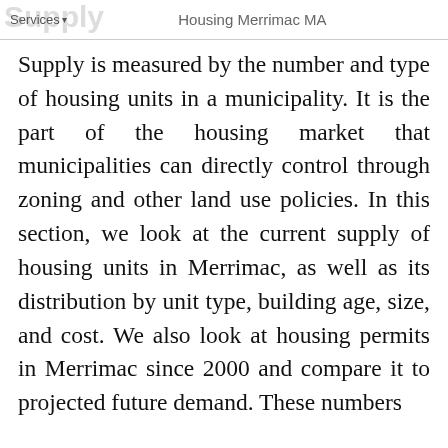Services ▾  Housing Merrimac MA
Supply is measured by the number and type of housing units in a municipality. It is the part of the housing market that municipalities can directly control through zoning and other land use policies. In this section, we look at the current supply of housing units in Merrimac, as well as its distribution by unit type, building age, size, and cost. We also look at housing permits in Merrimac since 2000 and compare it to projected future demand. These numbers